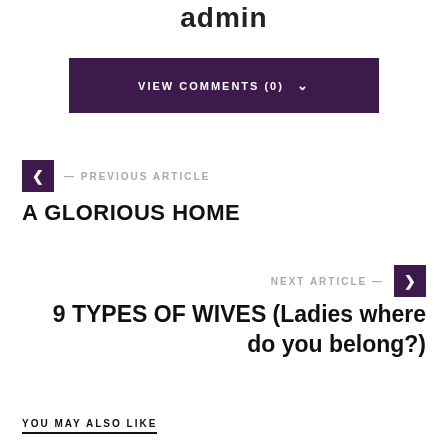admin
VIEW COMMENTS (0) ˅
‹ — PREVIOUS ARTICLE
A GLORIOUS HOME
NEXT ARTICLE — ›
9 TYPES OF WIVES (Ladies where do you belong?)
YOU MAY ALSO LIKE